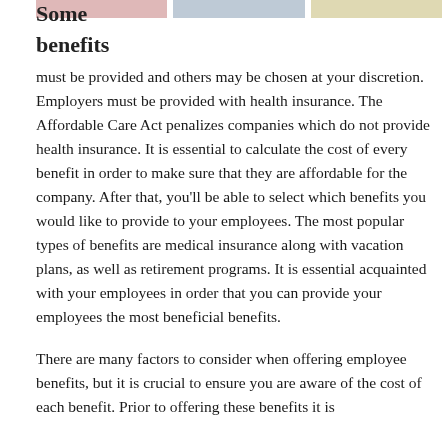[Figure (other): Partial decorative colored bar strips at top (pink, blue/gray, yellow/tan)]
Some benefits must be provided and others may be chosen at your discretion. Employers must be provided with health insurance. The Affordable Care Act penalizes companies which do not provide health insurance. It is essential to calculate the cost of every benefit in order to make sure that they are affordable for the company. After that, you'll be able to select which benefits you would like to provide to your employees. The most popular types of benefits are medical insurance along with vacation plans, as well as retirement programs. It is essential acquainted with your employees in order that you can provide your employees the most beneficial benefits.
There are many factors to consider when offering employee benefits, but it is crucial to ensure you are aware of the cost of each benefit. Prior to offering these benefits it is essential to understand the benefits. You must also be sure that